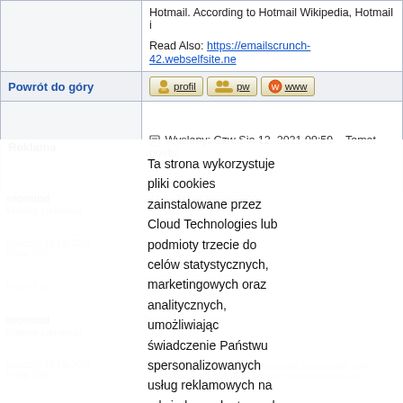Hotmail. According to Hotmail Wikipedia, Hotmail i
Read Also: https://emailscrunch-42.webselfsite.ne
Powrót do góry
profil  pw  www
Reklama
Wysłany: Czw Sie 12, 2021 09:59   Temat postu:
Ta strona wykorzystuje pliki cookies zainstalowane przez Cloud Technologies lub podmioty trzecie do celów statystycznych, marketingowych oraz analitycznych, umożliwiając świadczenie Państwu spersonalizowanych usług reklamowych na odwiedzanych stronach. Zmiana ustawień dotyczących plików cookies oraz ich wyłączenie możliwe jest w każdym czasie za pomocą ustawień przeglądarki. Korzystanie z tej strony bez zmiany ustawień dotyczących plików cookies oznacza, że pliki cookies będą umieszczane w Państwa urządzeniu końcowym. Więcej informacji dotyczących wykorzystania plików cookies znajdziecie Państwo w naszej Polityce Prywatności.
OK